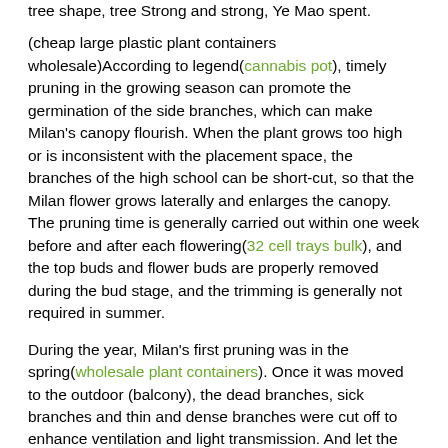tree shape, tree Strong and strong, Ye Mao spent.
(cheap large plastic plant containers wholesale)According to legend(cannabis pot), timely pruning in the growing season can promote the germination of the side branches, which can make Milan's canopy flourish. When the plant grows too high or is inconsistent with the placement space, the branches of the high school can be short-cut, so that the Milan flower grows laterally and enlarges the canopy. The pruning time is generally carried out within one week before and after each flowering(32 cell trays bulk), and the top buds and flower buds are properly removed during the bud stage, and the trimming is generally not required in summer.
During the year, Milan's first pruning was in the spring(wholesale plant containers). Once it was moved to the outdoor (balcony), the dead branches, sick branches and thin and dense branches were cut off to enhance ventilation and light transmission. And let the nutrients concentrate on the remaining branches to promote the growth of Milan. In fact, the method of pruning Milan flowers is not fixed(21 cell trays bulk). In addition to the seedling stage and early spring, the pruning of these two periods is necessary, and there is a